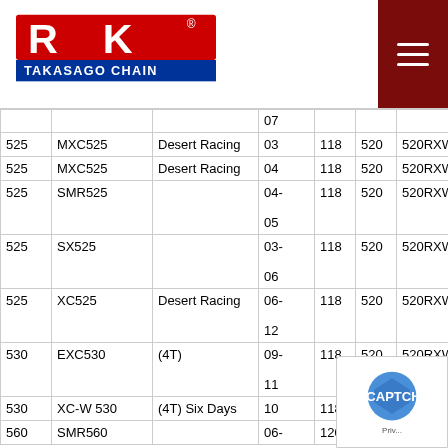[Figure (logo): RK Takasago Chain logo in red and blue]
| CC | Model | Type | Year | Links | Pitch | Chain | Chain | Sprocket |
| --- | --- | --- | --- | --- | --- | --- | --- | --- |
| 525 | MXC525 | Desert Racing | 03 | 118 | 520 | 520RXW | 520RXW | 864MA... |
| 525 | MXC525 | Desert Racing | 04 | 118 | 520 | 520RXW | 520RXW | 864MA... |
| 525 | SMR525 |  | 04-
05 | 118 | 520 | 520RXW | 520RXW | ... |
| 525 | SX525 |  | 03-
06 | 118 | 520 | 520RXW | 520RXW | 864MA... |
| 525 | XC525 | Desert Racing | 06-
12 | 118 | 520 | 520RXW | 520RXW | 864MA... |
| 530 | EXC530 | (4T) | 09-
11 | 118 | 520 | 520RXW | 520RXW | ... |
| 530 | XC-W 530 | (4T) Six Days | 10 | 118 | 520 | 520RXW | 520RXW |  |
| 560 | SMR560 |  | 06- | 120 | 520 | 520RXW | 520RXW |  |